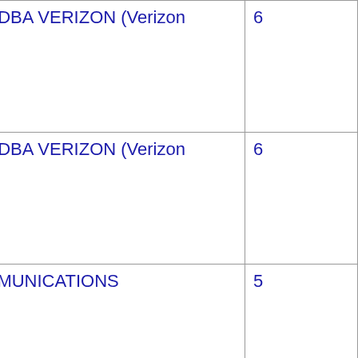| NPA-NXX | State | Company |  |
| --- | --- | --- | --- |
| 701-771-8 | ND | CELLCO PARTNERSHIP DBA VERIZON (Verizon Wireless) | 6 |
| 701-771-9 | ND | CELLCO PARTNERSHIP DBA VERIZON (Verizon Wireless) | 6 |
| 701-774 | ND | MISSOURI VALLEY COMMUNICATIONS | 5 |